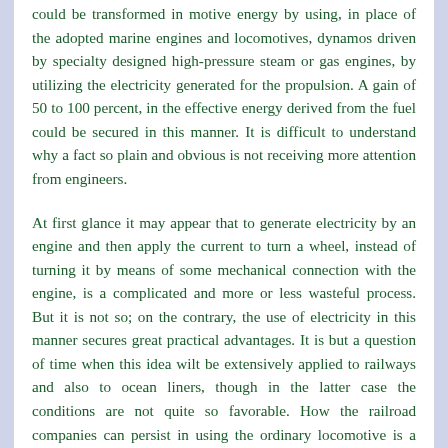could be transformed in motive energy by using, in place of the adopted marine engines and locomotives, dynamos driven by specialty designed high-pressure steam or gas engines, by utilizing the electricity generated for the propulsion. A gain of 50 to 100 percent, in the effective energy derived from the fuel could be secured in this manner. It is difficult to understand why a fact so plain and obvious is not receiving more attention from engineers.
At first glance it may appear that to generate electricity by an engine and then apply the current to turn a wheel, instead of turning it by means of some mechanical connection with the engine, is a complicated and more or less wasteful process. But it is not so; on the contrary, the use of electricity in this manner secures great practical advantages. It is but a question of time when this idea wilt be extensively applied to railways and also to ocean liners, though in the latter case the conditions are not quite so favorable. How the railroad companies can persist in using the ordinary locomotive is a mystery. By providing an engine generating electricity and operating with the current motors under the cars a train can be propelled with greater speed and more economically. In France this has already been done by Heilman, and although his machinery was not the best, the results he obtained were creditable and encouraging. I have calculated that a notable